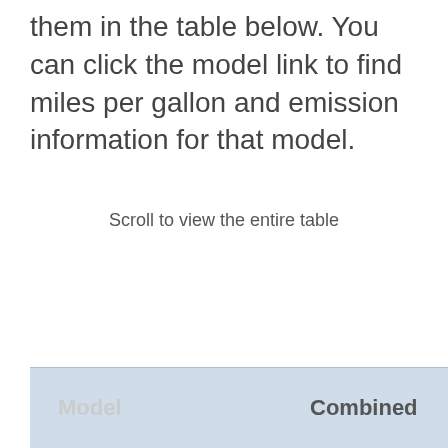them in the table below. You can click the model link to find miles per gallon and emission information for that model.
Scroll to view the entire table
| Model | Combined |
| --- | --- |